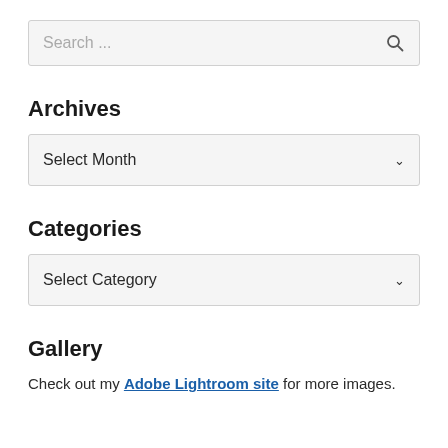[Figure (screenshot): Search input box with placeholder text 'Search ...' and a magnifying glass icon on the right]
Archives
[Figure (screenshot): Dropdown select widget showing 'Select Month' with a chevron arrow on the right]
Categories
[Figure (screenshot): Dropdown select widget showing 'Select Category' with a chevron arrow on the right]
Gallery
Check out my Adobe Lightroom site for more images.